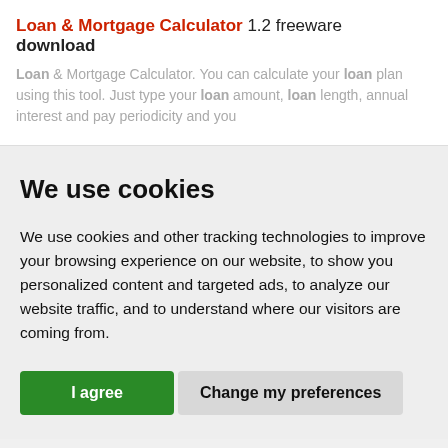Loan & Mortgage Calculator 1.2 freeware download
Loan & Mortgage Calculator. You can calculate your loan plan using this tool. Just type your loan amount, loan length, annual interest and pay periodicity and you
We use cookies
We use cookies and other tracking technologies to improve your browsing experience on our website, to show you personalized content and targeted ads, to analyze our website traffic, and to understand where our visitors are coming from.
I agree   Change my preferences